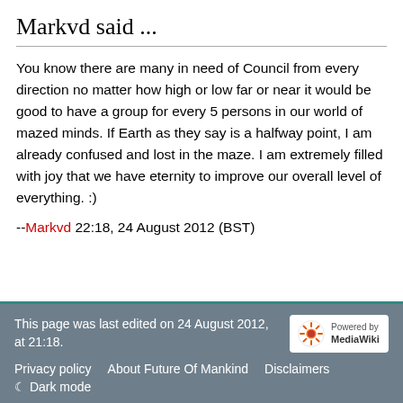Markvd said ...
You know there are many in need of Council from every direction no matter how high or low far or near it would be good to have a group for every 5 persons in our world of mazed minds. If Earth as they say is a halfway point, I am already confused and lost in the maze. I am extremely filled with joy that we have eternity to improve our overall level of everything. :)
--Markvd 22:18, 24 August 2012 (BST)
This page was last edited on 24 August 2012, at 21:18.
Privacy policy   About Future Of Mankind   Disclaimers
☾ Dark mode